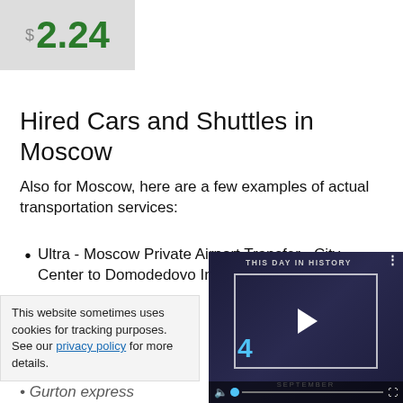[Figure (other): Price tag showing $2.24 in green on grey background with car silhouette]
Hired Cars and Shuttles in Moscow
Also for Moscow, here are a few examples of actual transportation services:
Ultra - Moscow Private Airport Transfer - City Center to Domodedovo Intl Airport: $8.71
Ultra - Moscow... City Centre to S...
[Figure (screenshot): Video player showing 'This Day in History' with September 4 content, play button, mute icon, progress bar and fullscreen button]
This website sometimes uses cookies for tracking purposes. See our privacy policy for more details.